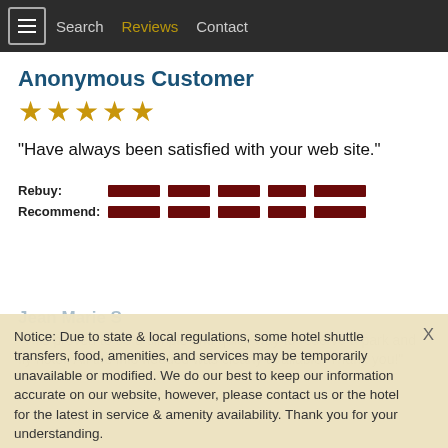Search | Reviews | Contact
Anonymous Customer
[Figure (other): 5 gold stars rating]
"Have always been satisfied with your web site."
Rebuy: [5 dark red rating bars]
Recommend: [5 dark red rating bars]
Notice: Due to state & local regulations, some hotel shuttle transfers, food, amenities, and services may be temporarily unavailable or modified. We do our best to keep our information accurate on our website, however, please contact us or the hotel for the latest in service & amenity availability. Thank you for your understanding. Dismiss
Jean Marie S
"This proved to be a simple and quick way to reserve a park and fly hotel. All the info needed was clearly available. Thank you!"